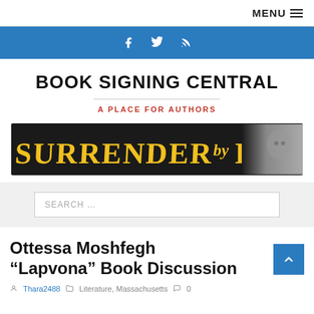MENU
[Figure (other): Blue navigation bar with social media icons: Facebook (f), Twitter (bird), RSS feed]
BOOK SIGNING CENTRAL
A PLACE FOR AUTHORS
[Figure (other): Banner image reading 'SURRENDER by BONO' in large yellow graffiti-style text on black background, with a black-and-white photo of a man with glasses on the right]
SEARCH ...
Ottessa Moshfegh “Lapvona” Book Discussion
Thara2488   Literature, Massachusetts   0